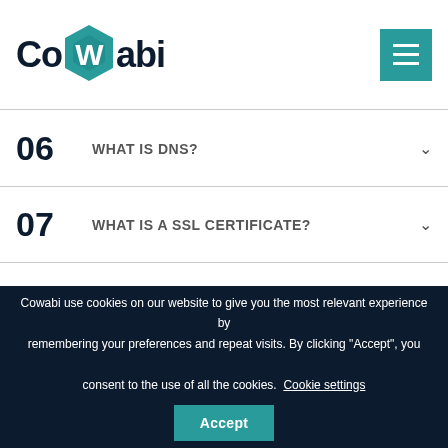[Figure (logo): Cowabi logo with teal hexagon shape replacing the W, text in dark navy]
06   WHAT IS DNS?
07   WHAT IS A SSL CERTIFICATE?
08   CAN I MIGRATE MY WEBSITE TO COWABI?
Cowabi use cookies on our website to give you the most relevant experience by remembering your preferences and repeat visits. By clicking "Accept", you consent to the use of all the cookies. Cookie settings  Accept